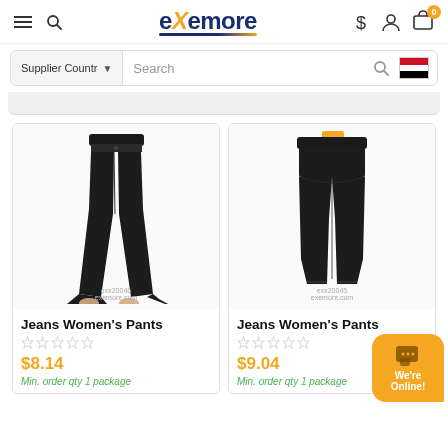exemore — navigation header with hamburger menu, search icon, dollar sign, user icon, and cart
Supplier Country | Search
[Figure (photo): Black flare-leg jeans women's pants product photo with watermark 'exx20046 exemore.com']
Jeans Women's Pants
$8.14
Min. order qty 1 package
[Figure (photo): Black slim/tapered jeans women's pants product photo with watermark 'exx20045 exemore.com']
Jeans Women's Pants
$9.04
Min. order qty 1 package